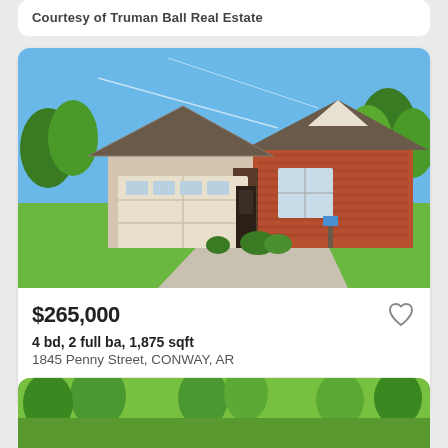Courtesy of Truman Ball Real Estate
[Figure (photo): Exterior photo of a single-story brick and siding ranch house with two-car garage, green lawn, and trees, under a blue sky]
$265,000
4 bd, 2 full ba, 1,875 sqft
1845 Penny Street, CONWAY, AR
Courtesy of RE/MAX Elite Conway Br...
[Figure (photo): Partial exterior photo of trees and green foliage, bottom of page cut off]